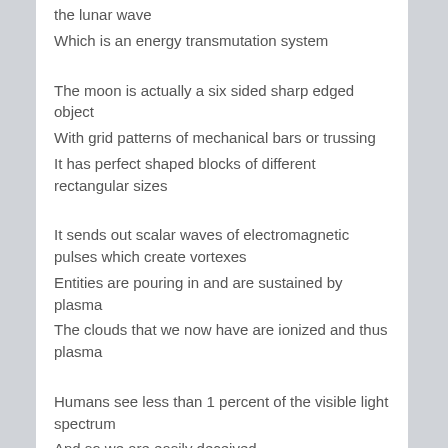the lunar wave
Which is an energy transmutation system
The moon is actually a six sided sharp edged object
With grid patterns of mechanical bars or trussing
It has perfect shaped blocks of different rectangular sizes
It sends out scalar waves of electromagnetic pulses which create vortexes
Entities are pouring in and are sustained by plasma
The clouds that we now have are ionized and thus plasma
Humans see less than 1 percent of the visible light spectrum
And so we are easily deceived
The unseen world is a machine world